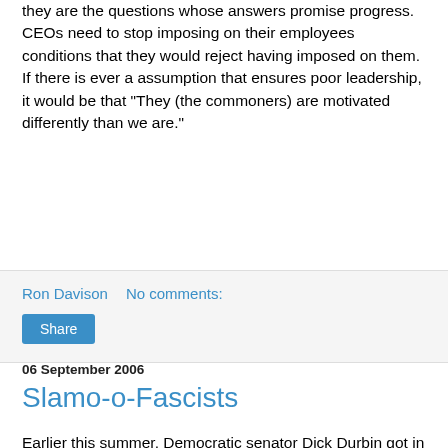they are the questions whose answers promise progress. CEOs need to stop imposing on their employees conditions that they would reject having imposed on them. If there is ever a assumption that ensures poor leadership, it would be that "They (the commoners) are motivated differently than we are."
Ron Davison    No comments:
Share
06 September 2006
Slamo-o-Fascists
Earlier this summer, Democratic senator Dick Durbin got in trouble for comparing the mistreatment of prisoners in Guantanamo Bay with what Nazis did. This week, Donald Rumsfeld got in trouble for comparing critics of the war with Nazi appeasers. In response to criticism, Rumsfeld clarified that critics are not just like Nazi appeasers but also those who appeased communists.